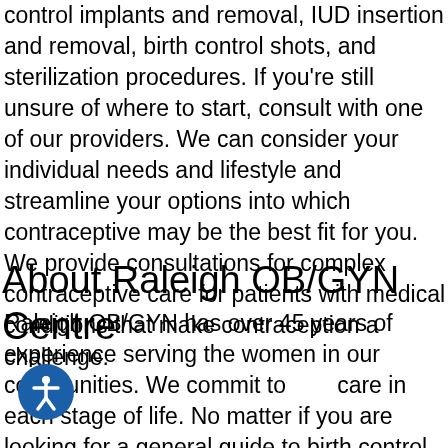control implants and removal, IUD insertion and removal, birth control shots, and sterilization procedures. If you're still unsure of where to start, consult with one of our providers. We can consider your individual needs and lifestyle and streamline your options into which contraceptive may be the best fit for you. We provide consultations for complex contraceptive care for patients with medical conditions that make contraception a challenge.
About Raleigh OB/GYN Centre
Raleigh OB/GYN has over 45 years of experience serving the women in our communities. We commit to care in each stage of life. No matter if you are looking for a general guide to birth control or would